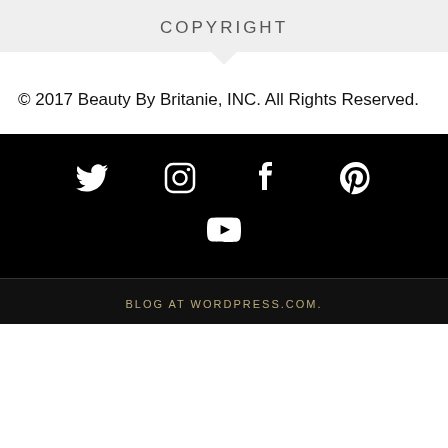COPYRIGHT
© 2017 Beauty By Britanie, INC. All Rights Reserved.
[Figure (other): Social media icons row: Twitter, Instagram, Facebook, Pinterest; second row: YouTube — white icons on black background]
BLOG AT WORDPRESS.COM.